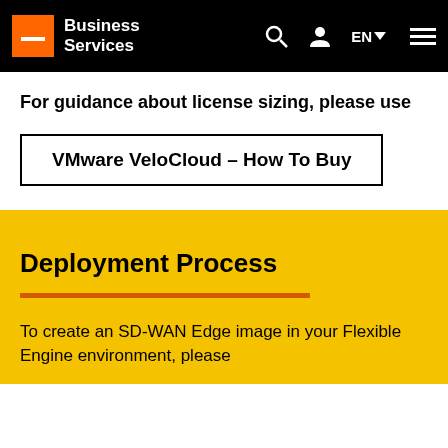Business Services
For guidance about license sizing, please use
VMware VeloCloud – How To Buy
Deployment Process
To create an SD-WAN Edge image in your Flexible Engine environment, please